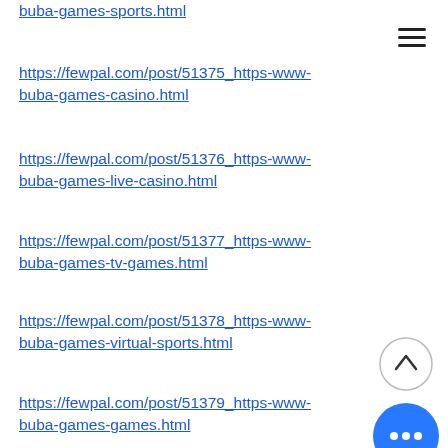buba-games-sports.html
https://fewpal.com/post/51375_https-www-buba-games-casino.html
https://fewpal.com/post/51376_https-www-buba-games-live-casino.html
https://fewpal.com/post/51377_https-www-buba-games-tv-games.html
https://fewpal.com/post/51378_https-www-buba-games-virtual-sports.html
https://fewpal.com/post/51379_https-www-buba-games-games.html
https://fewpal.com/post/51380_https-www-buba-games-esports.html
https://fewpal.com/post/51381_https-www-buba-games-...html